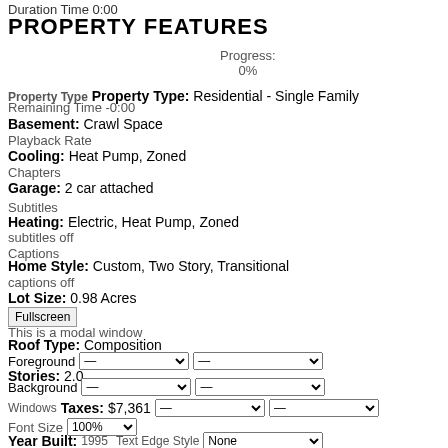Duration Time 0:00
PROPERTY FEATURES
Progress: 0%
Property Type: Residential - Single Family
Remaining Time -0:00
Basement: Crawl Space
Playback Rate
Cooling: Heat Pump, Zoned
Chapters
Garage: 2 car attached
Subtitles
Heating: Electric, Heat Pump, Zoned
subtitles off
Captions
Home Style: Custom, Two Story, Transitional
captions off
Lot Size: 0.98 Acres
Fullscreen
This is a modal window
Roof Type: Composition
Foreground
Stories: 2.0
Background
Windows
Taxes: $7,361
Font Size 100%
Year Built: 1995
Text Edge Style None
Font Family Default